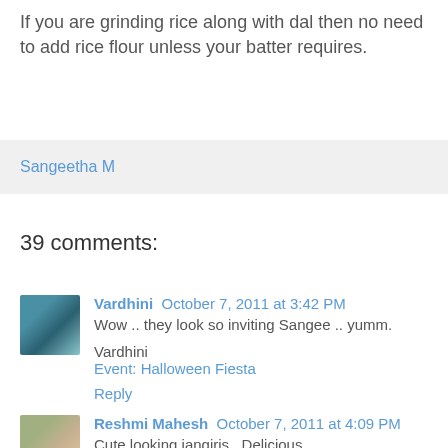If you are grinding rice along with dal then no need to add rice flour unless your batter requires.
Sangeetha M
39 comments:
Vardhini October 7, 2011 at 3:42 PM
Wow .. they look so inviting Sangee .. yumm.
Vardhini
Event: Halloween Fiesta
Reply
Reshmi Mahesh October 7, 2011 at 4:09 PM
Cute looking jangiris...Delicious..